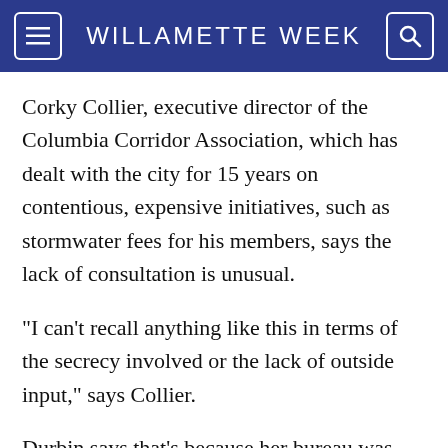WILLAMETTE WEEK
Corky Collier, executive director of the Columbia Corridor Association, which has dealt with the city for 15 years on contentious, expensive initiatives, such as stormwater fees for his members, says the lack of consultation is unusual.
"I can't recall anything like this in terms of the secrecy involved or the lack of outside input," says Collier.
Durbin says that's because her bureau was still developing the policy and she didn't want to share it until it was fully vetted by the city's legal